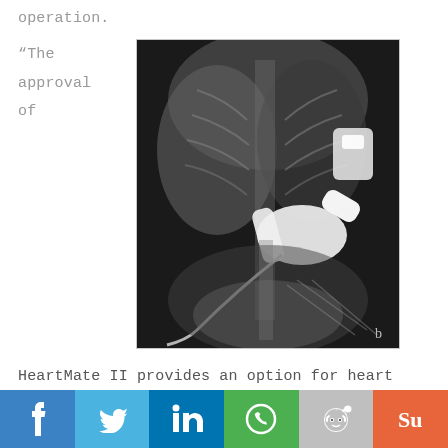operation.
“The approval of
[Figure (photo): Black and white X-ray image showing a HeartMate II left ventricular assist device (LVAD) implanted in a patient's chest and abdomen, with visible mechanical pump components, tubing, and the driveline exiting the body.]
HeartMate II provides an option for heart failure patients who cannot receive a
f  🐦 in  📱 👽 su